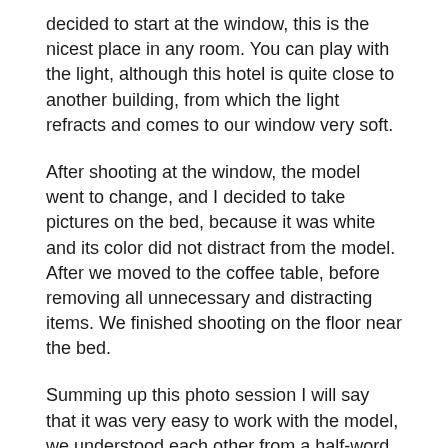decided to start at the window, this is the nicest place in any room. You can play with the light, although this hotel is quite close to another building, from which the light refracts and comes to our window very soft.
After shooting at the window, the model went to change, and I decided to take pictures on the bed, because it was white and its color did not distract from the model. After we moved to the coffee table, before removing all unnecessary and distracting items. We finished shooting on the floor near the bed.
Summing up this photo session I will say that it was very easy to work with the model, we understood each other from a half-word, although we speak different languages. The only defect is that a room was too small and there was not enough variety because of this, but Jackie said that she would return to Paris and we would make a large-scale project.
Such a boudoir photo shoot we had in Paris.